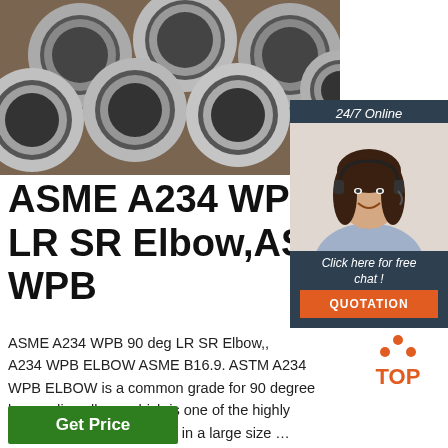[Figure (photo): Photo of stacked steel pipes/tubes viewed from the end, showing circular hollow cross-sections, grey metallic finish]
[Figure (infographic): 24/7 Online chat widget with customer service agent photo wearing headset, 'Click here for free chat!' text, and orange QUOTATION button]
ASME A234 WPB 90 d LR SR Elbow,ASTM A2 WPB
ASME A234 WPB 90 deg LR SR Elbow,, A234 WPB ELBOW ASME B16.9. ASTM A234 WPB ELBOW is a common grade for 90 degree long radius elbow, which is one of the highly demanded. They available in a large size …
[Figure (logo): TOP badge — orange triangle dots above orange text 'TOP']
Get Price